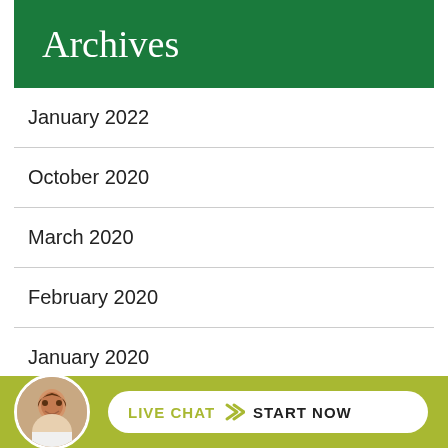Archives
January 2022
October 2020
March 2020
February 2020
January 2020
December 20...
[Figure (infographic): Live chat widget with circular avatar photo of a woman, olive-green background bar, white rounded button with 'LIVE CHAT > START NOW' text]